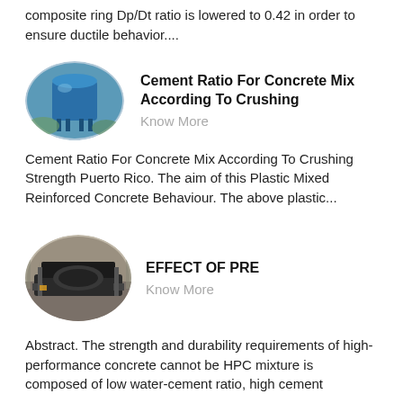composite ring Dp/Dt ratio is lowered to 0.42 in order to ensure ductile behavior....
[Figure (photo): Oval/elliptical photo of a blue industrial silo or storage tank structure]
Cement Ratio For Concrete Mix According To Crushing
Know More
Cement Ratio For Concrete Mix According To Crushing Strength Puerto Rico. The aim of this Plastic Mixed Reinforced Concrete Behaviour. The above plastic...
[Figure (photo): Oval/elliptical photo of a large industrial crushing machine in a factory/warehouse]
EFFECT OF PRE
Know More
Abstract. The strength and durability requirements of high-performance concrete cannot be HPC mixture is composed of low water-cement ratio, high cement